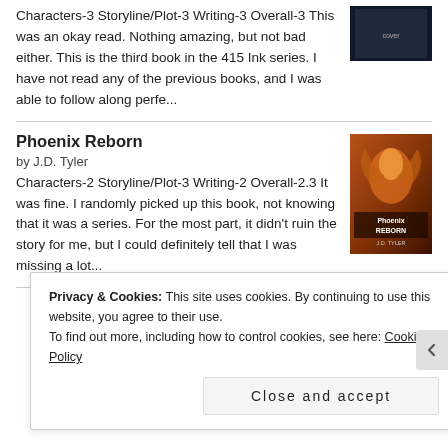Characters-3 Storyline/Plot-3 Writing-3 Overall-3 This was an okay read. Nothing amazing, but not bad either. This is the third book in the 415 Ink series. I have not read any of the previous books, and I was able to follow along perfe...
Phoenix Reborn
by J.D. Tyler
Characters-2 Storyline/Plot-3 Writing-2 Overall-2.3 It was fine. I randomly picked up this book, not knowing that it was a series. For the most part, it didn't ruin the story for me, but I could definitely tell that I was missing a lot...
Privacy & Cookies: This site uses cookies. By continuing to use this website, you agree to their use.
To find out more, including how to control cookies, see here: Cookie Policy
Close and accept